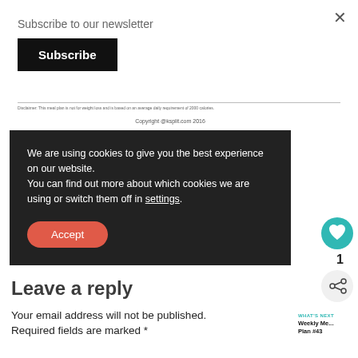×
Subscribe to our newsletter
Subscribe
Disclaimer: This meal plan is not for weight loss and is based on an average daily requirement of 2000 calories.
Copyright @ksplit.com 2016
We are using cookies to give you the best experience on our website.
You can find out more about which cookies we are using or switch them off in settings.
Accept
Leave a reply
Your email address will not be published.
Required fields are marked *
1
WHAT'S NEXT
Weekly Me...
Plan #43